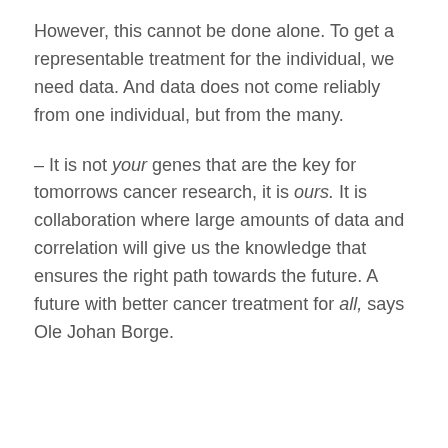However, this cannot be done alone. To get a representable treatment for the individual, we need data. And data does not come reliably from one individual, but from the many.
– It is not your genes that are the key for tomorrows cancer research, it is ours. It is collaboration where large amounts of data and correlation will give us the knowledge that ensures the right path towards the future. A future with better cancer treatment for all, says Ole Johan Borge.